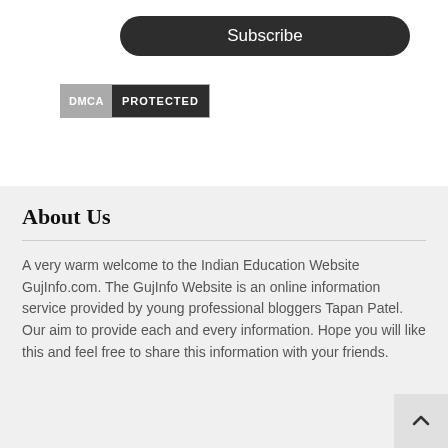[Figure (other): Subscribe button — dark rounded rectangle with white text 'Subscribe']
[Figure (other): DMCA Protected badge — grey 'DMCA' left panel and dark 'PROTECTED' right panel]
About Us
A very warm welcome to the Indian Education Website GujInfo.com. The GujInfo Website is an online information service provided by young professional bloggers Tapan Patel. Our aim to provide each and every information. Hope you will like this and feel free to share this information with your friends.